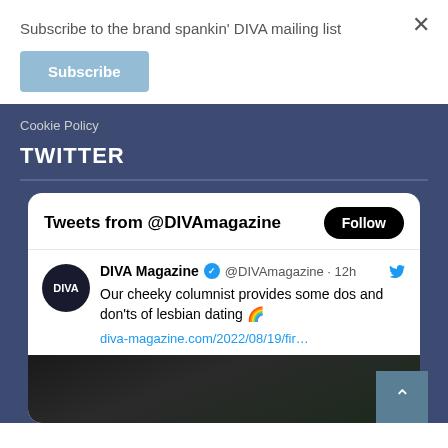Subscribe to the brand spankin' DIVA mailing list
Subscribe
Cookie Policy
TWITTER
Tweets from @DIVAmagazine
Follow
DIVA Magazine @DIVAmagazine · 12h
Our cheeky columnist provides some dos and don'ts of lesbian dating 🌈
diva-magazine.com/2022/08/19/fir…
[Figure (photo): Partial view of a person with dark hair, dark background]